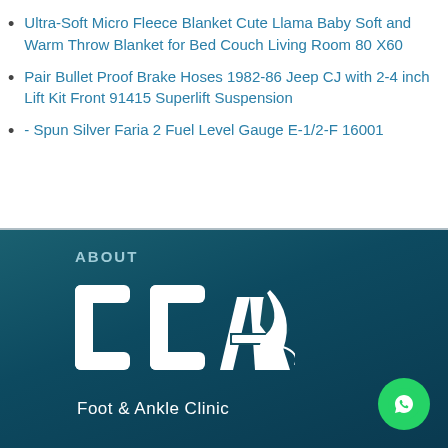Ultra-Soft Micro Fleece Blanket Cute Llama Baby Soft and Warm Throw Blanket for Bed Couch Living Room 80 X60
Pair Bullet Proof Brake Hoses 1982-86 Jeep CJ with 2-4 inch Lift Kit Front 91415 Superlift Suspension
- Spun Silver Faria 2 Fuel Level Gauge E-1/2-F 16001
ABOUT
[Figure (logo): CDA Foot & Ankle Clinic logo — white stylized letters C, D, A with a foot/ankle graphic, on dark teal background, with text 'Foot & Ankle Clinic' below]